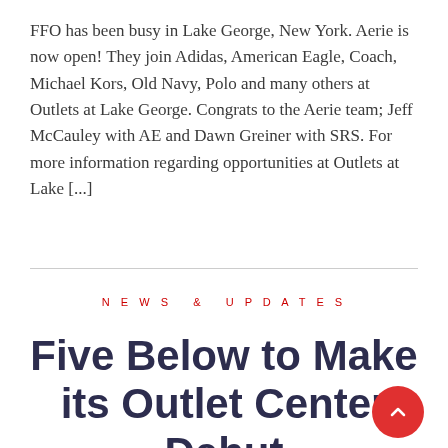FFO has been busy in Lake George, New York. Aerie is now open! They join Adidas, American Eagle, Coach, Michael Kors, Old Navy, Polo and many others at Outlets at Lake George. Congrats to the Aerie team; Jeff McCauley with AE and Dawn Greiner with SRS. For more information regarding opportunities at Outlets at Lake [...]
NEWS & UPDATES
Five Below to Make its Outlet Center Debut